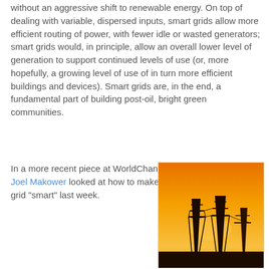without an aggressive shift to renewable energy. On top of dealing with variable, dispersed inputs, smart grids allow more efficient routing of power, with fewer idle or wasted generators; smart grids would, in principle, allow an overall lower level of generation to support continued levels of use (or, more hopefully, a growing level of use of in turn more efficient buildings and devices). Smart grids are, in the end, a fundamental part of building post-oil, bright green communities.
In a more recent piece at WorldChanging, Joel Makower looked at how to make the grid "smart" last week.
[Figure (photo): Silhouetted electric power transmission towers against an orange/yellow sunset sky]
The realization that America's electricity infrastructure is shakier than a palm tree during a hurricane hits us every few years, when some blackout or rolling brownout reminds us of our electro-vulnerability.